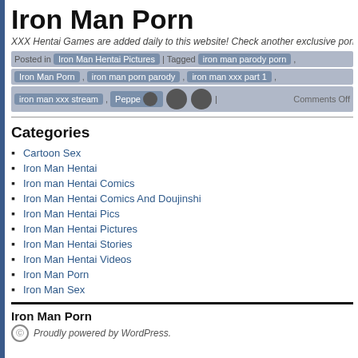Iron Man Porn
XXX Hentai Games are added daily to this website! Check another exclusive porn game
Posted in Iron Man Hentai Pictures | Tagged iron man parody porn , Iron Man Porn , iron man porn parody , iron man xxx part 1 , iron man xxx stream , Peppe... [redacted] | Comments Off
Categories
Cartoon Sex
Iron Man Hentai
Iron man Hentai Comics
Iron Man Hentai Comics And Doujinshi
Iron Man Hentai Pics
Iron Man Hentai Pictures
Iron Man Hentai Stories
Iron Man Hentai Videos
Iron Man Porn
Iron Man Sex
Iron Man Porn — Proudly powered by WordPress.